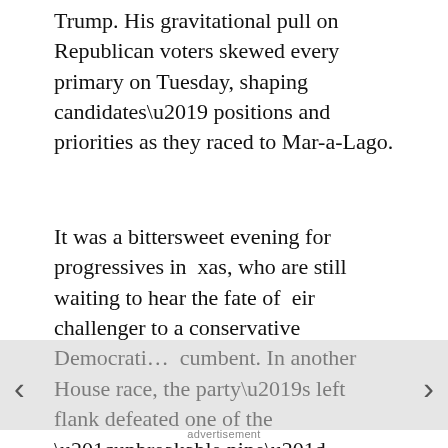Trump. His gravitational pull on Republican voters skewed every primary on Tuesday, shaping candidates' positions and priorities as they raced to Mar-a-Lago.
It was a bittersweet evening for progressives in xas, who are still waiting to hear the fate of eir challenger to a conservative Democratic cumbent. In another House race, the party's left flank defeated one of the “unbreakable nine” Democrats who opposed President Biden’s social spending plans in the Atlanta suburbs.
advertisement